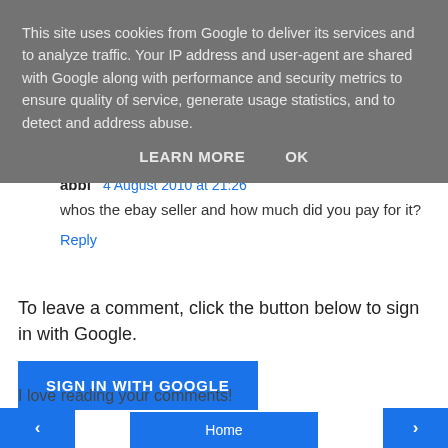This site uses cookies from Google to deliver its services and to analyze traffic. Your IP address and user-agent are shared with Google along with performance and security metrics to ensure quality of service, generate usage statistics, and to detect and address abuse.
LEARN MORE   OK
abbi  4 August 2010 at 21:26
whos the ebay seller and how much did you pay for it?
Reply
To leave a comment, click the button below to sign in with Google.
SIGN IN WITH GOOGLE
I love reading your comments!
‹
Home
›